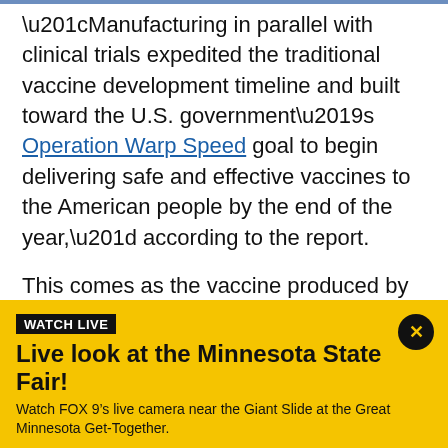“Manufacturing in parallel with clinical trials expedited the traditional vaccine development timeline and built toward the U.S. government’s Operation Warp Speed goal to begin delivering safe and effective vaccines to the American people by the end of the year,” according to the report.
This comes as the vaccine produced by Pfizer Inc. and its German partner BioNTech won a critical endorsement Thursday from an FDA panel of outside advisers, and sign off from the agency — which is expected within days — is the next step needed to get
WATCH LIVE
Live look at the Minnesota State Fair!
Watch FOX 9’s live camera near the Giant Slide at the Great Minnesota Get-Together.